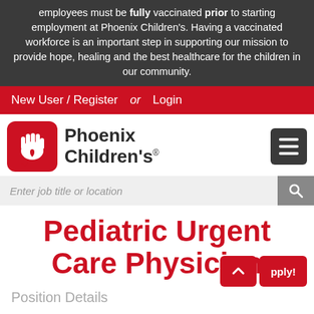employees must be fully vaccinated prior to starting employment at Phoenix Children's. Having a vaccinated workforce is an important step in supporting our mission to provide hope, healing and the best healthcare for the children in our community.
New User / Register  or  Login
[Figure (logo): Phoenix Children's logo — red rounded square with white hand/heart icon, beside bold text 'Phoenix Children's']
Enter job title or location
Pediatric Urgent Care Physician
Position Details